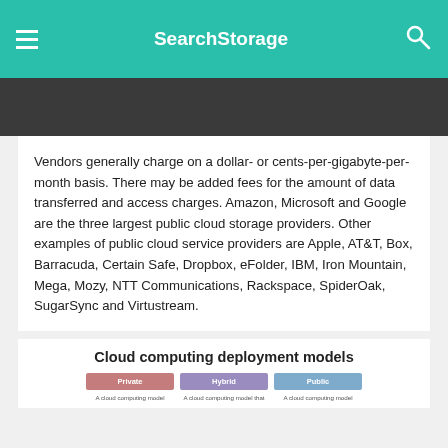SearchStorage
Vendors generally charge on a dollar- or cents-per-gigabyte-per-month basis. There may be added fees for the amount of data transferred and access charges. Amazon, Microsoft and Google are the three largest public cloud storage providers. Other examples of public cloud service providers are Apple, AT&T, Box, Barracuda, Certain Safe, Dropbox, eFolder, IBM, Iron Mountain, Mega, Mozy, NTT Communications, Rackspace, SpiderOak, SugarSync and Virtustream.
[Figure (infographic): Cloud computing deployment models infographic showing three columns: Private, Hybrid, and Public cloud models with brief descriptions under each.]